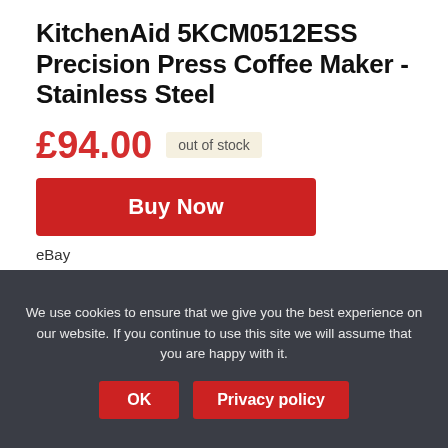KitchenAid 5KCM0512ESS Precision Press Coffee Maker - Stainless Steel
£94.00  out of stock
Buy Now
eBay
as of September 2, 2022 3:15 am
It allows the coffee grounds to steep in hot water and then you simply push down the plunger,
We use cookies to ensure that we give you the best experience on our website. If you continue to use this site we will assume that you are happy with it.
OK
Privacy policy